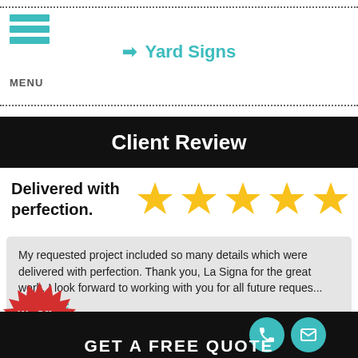≡ MENU   ➤ Yard Signs
Client Review
Delivered with perfection.
[Figure (illustration): Five gold star rating icons]
My requested project included so many details which were delivered with perfection. Thank you, La Signa for the great work. I look forward to working with you for all future reques... read more
- Lisa Moses-Moore
[Figure (illustration): Red starburst badge with white text: We Offer Financing]
[Figure (illustration): Black bar with teal phone and email circle icons and partial text: GET A FREE QUOTE]